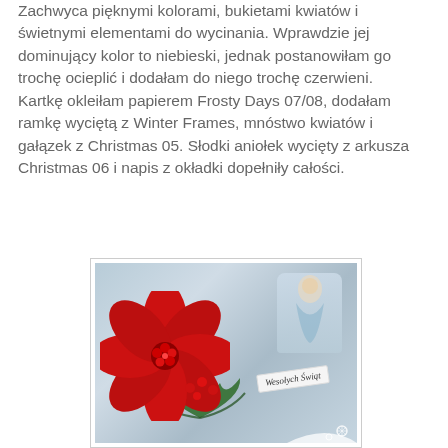Zachwyca pięknymi kolorami, bukietami kwiatów i świetnymi elementami do wycinania. Wprawdzie jej dominujący kolor to niebieski, jednak postanowiłam go trochę ocieplić i dodałam do niego trochę czerwieni.
Kartkę okleiłam papierem Frosty Days 07/08, dodałam ramkę wyciętą z Winter Frames, mnóstwo kwiatów i gałązek z Christmas 05. Słodki aniołek wycięty z arkusza Christmas 06 i napis z okładki dopełniły całości.
[Figure (photo): A Christmas card decorated with a large red poinsettia flower with red berries in the center, green pine branches, an angel cutout in the upper right area, a white snowflake lace element, and a tag reading 'Wesołych Świąt'. The background paper has a blue floral pattern.]